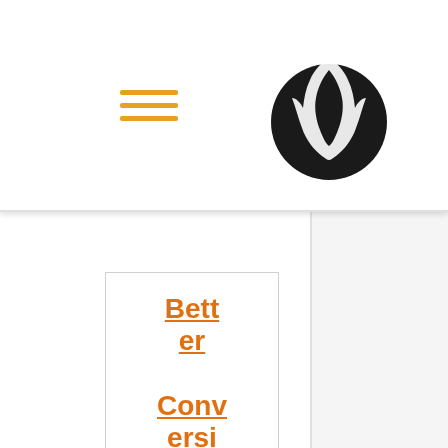[Figure (logo): Wolf howling logo mark in black circle]
Better Conversion Rate
Brand Awareness